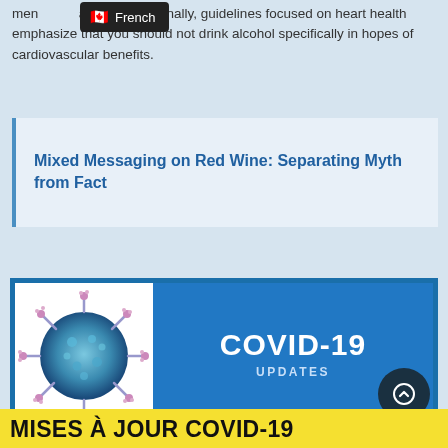men... an two. Additionally, guidelines focused on heart health emphasize that you should not drink alcohol specifically in hopes of cardiovascular benefits.
Mixed Messaging on Red Wine: Separating Myth from Fact
[Figure (illustration): COVID-19 Updates banner image showing a 3D blue coronavirus particle on the left and blue background with 'COVID-19 UPDATES' text on the right]
MISES À JOUR COVID-19